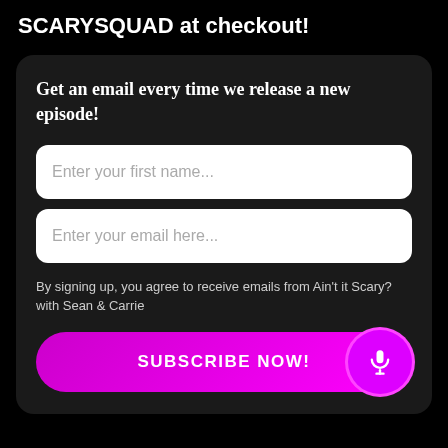SCARYSQUAD at checkout!
Get an email every time we release a new episode!
Enter your first name...
Enter your email here...
By signing up, you agree to receive emails from Ain't it Scary? with Sean & Carrie
SUBSCRIBE NOW!